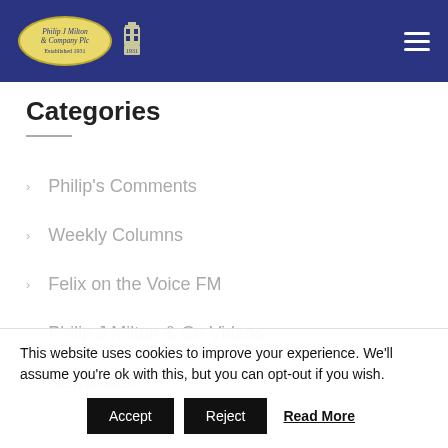Philip J Milton & Company Plc
Categories
Philip's Comments
Weekly Columns
Felix on the Voice FM
Philip J Milton & Co Videos
Newsletters
This website uses cookies to improve your experience. We'll assume you're ok with this, but you can opt-out if you wish.
Accept | Reject | Read More